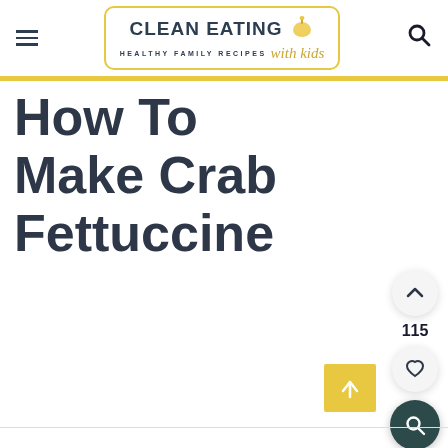CLEAN EATING with kids — HEALTHY FAMILY RECIPES
How To Make Crab Fettuccine
[Figure (infographic): Floating action buttons on right side: up-arrow vote button with count 115, heart/save button, dark teal search button. Gold scroll-to-top button at bottom right.]